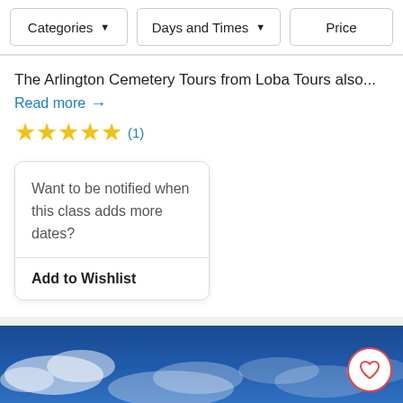[Figure (screenshot): Filter bar with Categories, Days and Times, and Price dropdown buttons]
The Arlington Cemetery Tours from Loba Tours also...
Read more →
★★★★★ (1)
Want to be notified when this class adds more dates?
Add to Wishlist
[Figure (photo): Sky with blue clouds and white heart/wishlist button overlay]